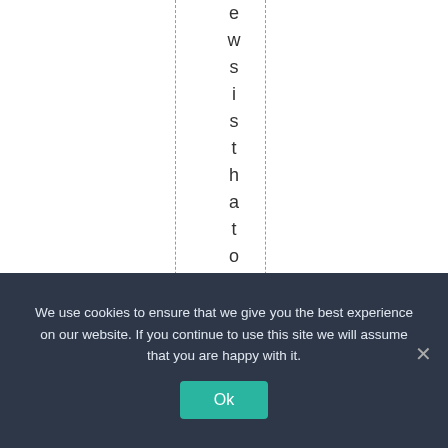ewsisthatonlythe12%th...
We use cookies to ensure that we give you the best experience on our website. If you continue to use this site we will assume that you are happy with it.